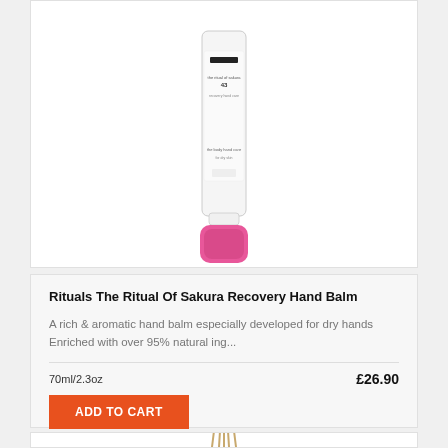[Figure (photo): Product photo of Rituals The Ritual Of Sakura Recovery Hand Balm tube — white tube with pink cap, partially visible at top of page]
Rituals The Ritual Of Sakura Recovery Hand Balm
A rich & aromatic hand balm especially developed for dry hands Enriched with over 95% natural ing...
70ml/2.3oz
£26.90
ADD TO CART
[Figure (photo): Bottom of another product card partially visible — appears to show reed diffuser sticks in gold/bamboo color]